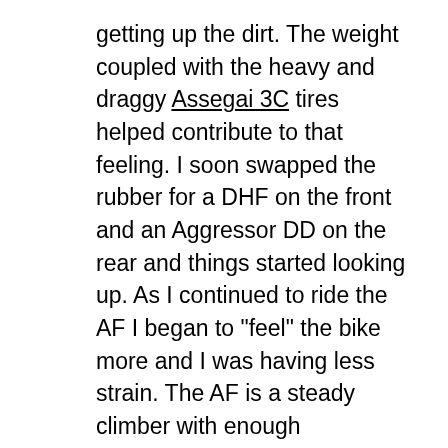getting up the dirt. The weight coupled with the heavy and draggy Assegai 3C tires helped contribute to that feeling. I soon swapped the rubber for a DHF on the front and an Aggressor DD on the rear and things started looking up. As I continued to ride the AF I began to "feel" the bike more and I was having less strain. The AF is a steady climber with enough maneuverability to guide it where you need it on the climbs. It also had no issue with traction nor did I feel and excessive front end wonder from that 64.9° head tube angle. The seat tube angle at 76° felt ok but I have been spoiled after riding the 2020 Occam with a 77° seat tube. Grinding away